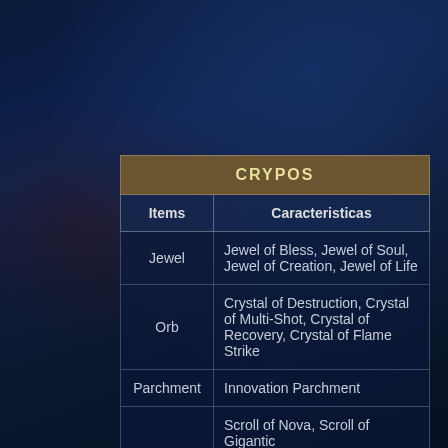|  | Items | Caracteristicas |
| --- | --- | --- |
|  | Jewel | Jewel of Bless, Jewel of Soul, Jewel of Creation, Jewel of Life |
|  | Orb | Crystal of Destruction, Crystal of Multi-Shot, Crystal of Recovery, Crystal of Flame Strike |
|  | Parchment | Innovation Parchment |
|  |  | Scroll of Nova, Scroll of Gigantic |